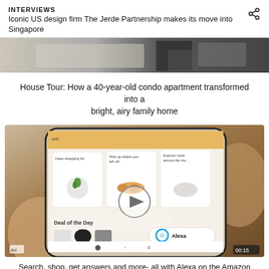INTERVIEWS
Iconic US design firm The Jerde Partnership makes its move into Singapore
[Figure (photo): Partial view of interior/furniture photo at top of page]
House Tour: How a 40-year-old condo apartment transformed into a bright, airy family home
[Figure (screenshot): Advertisement showing a hand holding a smartphone with Amazon app open, displaying Keep shopping for, Pick up where you left off, Explore more across the store sections, Deal of the Day, and Alexa button. Ad label and 00:15 timer visible.]
Search, shop, get answers and more- all with Alexa on the Amazon